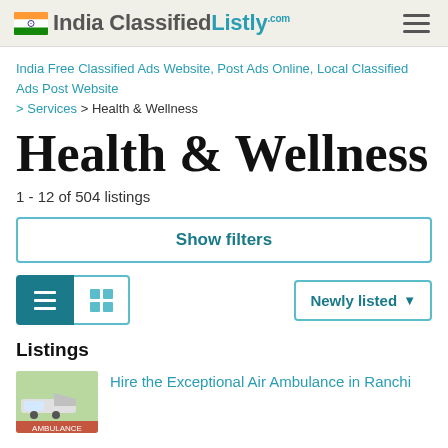India ClassifiedListly
India Free Classified Ads Website, Post Ads Online, Local Classified Ads Post Website > Services > Health & Wellness
Health & Wellness
1 - 12 of 504 listings
Show filters
Newly listed
Listings
Hire the Exceptional Air Ambulance in Ranchi